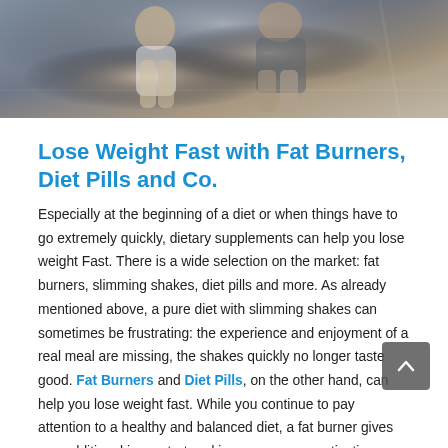[Figure (photo): Two fit people at a gym — a woman in white sports bra and a man in grey shorts, showing athletic physiques]
Lose Weight Fast with Fat Burners, Diet Pills and Co.
Especially at the beginning of a diet or when things have to go extremely quickly, dietary supplements can help you lose weight Fast. There is a wide selection on the market: fat burners, slimming shakes, diet pills and more. As already mentioned above, a pure diet with slimming shakes can sometimes be frustrating: the experience and enjoyment of a real meal are missing, the shakes quickly no longer taste good. Fat Burners and Diet Pills, on the other hand, can help you lose weight fast. While you continue to pay attention to a healthy and balanced diet, a fat burner gives you additional jump start and increases your motivation.
The Fat Burner Advantages at a Glance